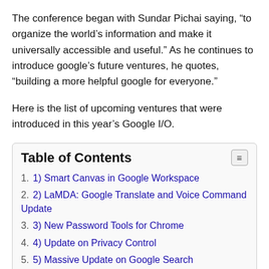The conference began with Sundar Pichai saying, “to organize the world’s information and make it universally accessible and useful.” As he continues to introduce google’s future ventures, he quotes, “building a more helpful google for everyone.”
Here is the list of upcoming ventures that were introduced in this year’s Google I/O.
| Table of Contents |
| --- |
| 1. 1) Smart Canvas in Google Workspace |
| 2. 2) LaMDA: Google Translate and Voice Command Update |
| 3. 3) New Password Tools for Chrome |
| 4. 4) Update on Privacy Control |
| 5. 5) Massive Update on Google Search |
| 6. 6) Updates on Google Maps |
| 7. 7) Google has a new take on Shopping |
| 8. 8) Update in Google Photos |
| 9. 9) New look in Android 12 |